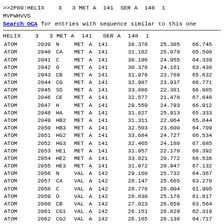>>2P80:HELIX    3   3 MET A  141  SER A  148  1
MVPWHVVS
Search OCA for entries with sequence similar to this one
HELIX    3   3 MET A  141   SER A  148  1
| RECORD | SERIAL | NAME | RES | CH | SEQ | X | Y | Z |  |
| --- | --- | --- | --- | --- | --- | --- | --- | --- | --- |
| ATOM | 2039 | N | MET | A | 141 | 30.378 | 25.305 | 66.745 |  |
| ATOM | 2040 | CA | MET | A | 141 | 31.162 | 25.079 | 65.500 |  |
| ATOM | 2041 | C | MET | A | 141 | 30.196 | 24.955 | 64.339 |  |
| ATOM | 2042 | O | MET | A | 141 | 30.376 | 24.161 | 63.438 |  |
| ATOM | 2043 | CB | MET | A | 141 | 31.976 | 23.789 | 65.632 |  |
| ATOM | 2044 | CG | MET | A | 141 | 32.987 | 23.937 | 66.771 |  |
| ATOM | 2045 | SD | MET | A | 141 | 33.886 | 22.381 | 66.985 |  |
| ATOM | 2046 | CE | MET | A | 141 | 32.577 | 21.478 | 67.848 |  |
| ATOM | 2047 | H | MET | A | 141 | 29.559 | 24.793 | 66.912 |  |
| ATOM | 2048 | HA | MET | A | 141 | 31.827 | 25.913 | 65.333 |  |
| ATOM | 2049 | HB2 | MET | A | 141 | 31.311 | 22.964 | 65.844 |  |
| ATOM | 2050 | HB3 | MET | A | 141 | 32.503 | 23.600 | 64.709 |  |
| ATOM | 2051 | HG2 | MET | A | 141 | 33.684 | 24.727 | 66.534 |  |
| ATOM | 2052 | HG3 | MET | A | 141 | 32.465 | 24.180 | 67.685 |  |
| ATOM | 2053 | HE1 | MET | A | 141 | 31.957 | 22.178 | 68.392 |  |
| ATOM | 2054 | HE2 | MET | A | 141 | 33.021 | 20.772 | 68.536 |  |
| ATOM | 2055 | HE3 | MET | A | 141 | 31.972 | 20.947 | 67.132 |  |
| ATOM | 2056 | N | VAL | A | 142 | 29.160 | 25.732 | 64.367 |  |
| ATOM | 2057 | CA | VAL | A | 142 | 28.147 | 25.665 | 63.270 |  |
| ATOM | 2058 | C | VAL | A | 142 | 28.776 | 26.004 | 61.905 |  |
| ATOM | 2059 | O | VAL | A | 142 | 28.830 | 25.176 | 61.017 |  |
| ATOM | 2060 | CB | VAL | A | 142 | 27.023 | 26.659 | 63.564 |  |
| ATOM | 2061 | CG1 | VAL | A | 142 | 26.151 | 26.829 | 62.319 |  |
| ATOM | 2062 | CG2 | VAL | A | 142 | 26.165 | 26.138 | 64.717 |  |